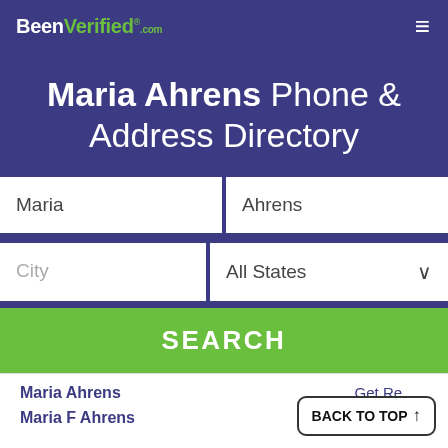BeenVerified.com
Maria Ahrens Phone & Address Directory
Maria | Ahrens | City | All States | SEARCH
Maria Ahrens — Get Report
Maria F Ahrens — Get Report
BACK TO TOP ↑